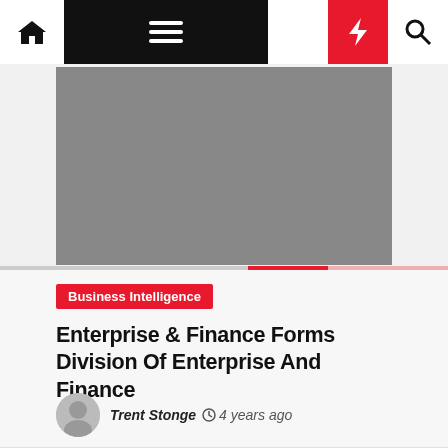Navigation bar with home, menu, moon/dark mode, flash/trending, and search icons
[Figure (photo): Gray hero image placeholder area]
Business Intelligence
Enterprise & Finance Forms Division Of Enterprise And Finance
Trent Stonge  4 years ago
[Figure (photo): Partial bottom image showing EARCHMOZ logo and document/business images]